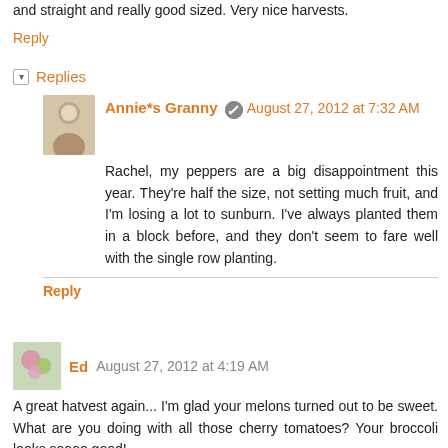and straight and really good sized. Very nice harvests.
Reply
Replies
Annie*s Granny  August 27, 2012 at 7:32 AM
Rachel, my peppers are a big disappointment this year. They're half the size, not setting much fruit, and I'm losing a lot to sunburn. I've always planted them in a block before, and they don't seem to fare well with the single row planting.
Reply
Ed  August 27, 2012 at 4:19 AM
A great hatvest again... I'm glad your melons turned out to be sweet. What are you doing with all those cherry tomatoes? Your broccoli looks soooo good!